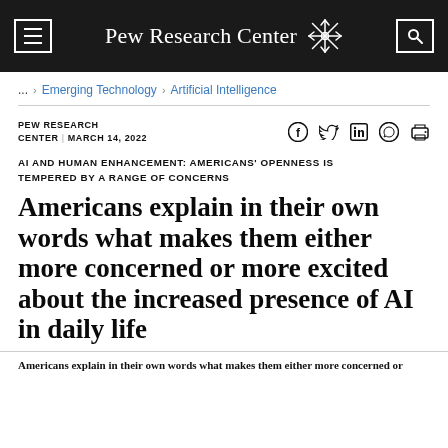Pew Research Center
... > Emerging Technology > Artificial Intelligence
PEW RESEARCH CENTER | MARCH 14, 2022
AI AND HUMAN ENHANCEMENT: AMERICANS' OPENNESS IS TEMPERED BY A RANGE OF CONCERNS
Americans explain in their own words what makes them either more concerned or more excited about the increased presence of AI in daily life
Americans explain in their own words what makes them either more concerned or